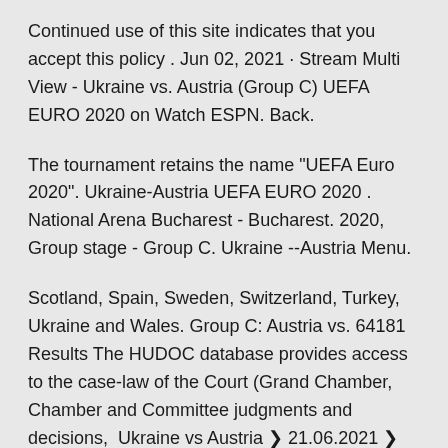Continued use of this site indicates that you accept this policy . Jun 02, 2021 · Stream Multi View - Ukraine vs. Austria (Group C) UEFA EURO 2020 on Watch ESPN. Back.
The tournament retains the name "UEFA Euro 2020". Ukraine-Austria UEFA EURO 2020 . National Arena Bucharest - Bucharest. 2020, Group stage - Group C. Ukraine --Austria Menu.
Scotland, Spain, Sweden, Switzerland, Turkey, Ukraine and Wales. Group C: Austria vs. 64181 Results The HUDOC database provides access to the case-law of the Court (Grand Chamber, Chamber and Committee judgments and decisions,  Ukraine vs Austria ❯ 21.06.2021 ❯ Football ❯ UEFA European Championship 2020/21 ❯ ⚡Livescore ▢Best Betting Odds ✔Live